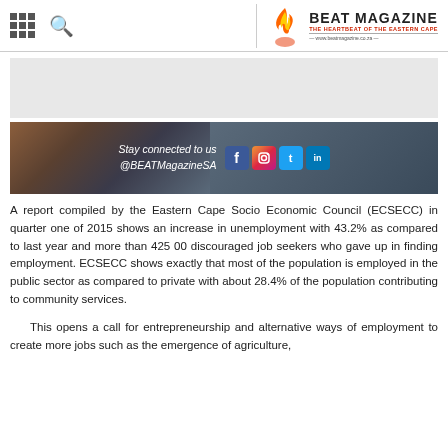BEAT MAGAZINE — THE HEARTBEAT OF THE EASTERN CAPE — www.beatmagazine.co.za
[Figure (photo): Social media banner with text 'Stay connected to us @BEATMagazineSA' with Facebook, Instagram, Twitter, and LinkedIn icons on a dark photo background of people with laptops]
A report compiled by the Eastern Cape Socio Economic Council (ECSECC) in quarter one of 2015 shows an increase in unemployment with 43.2% as compared to last year and more than 425 00 discouraged job seekers who gave up in finding employment. ECSECC shows exactly that most of the population is employed in the public sector as compared to private with about 28.4% of the population contributing to community services.
This opens a call for entrepreneurship and alternative ways of employment to create more jobs such as the emergence of agriculture,